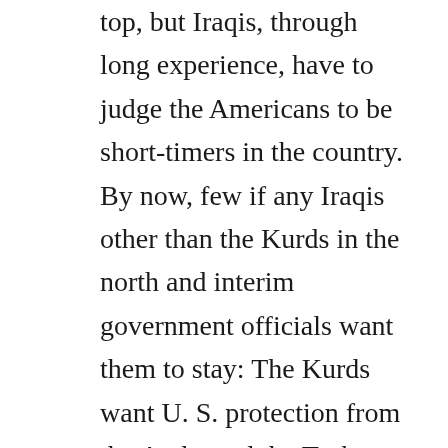top, but Iraqis, through long experience, have to judge the Americans to be short-timers in the country. By now, few if any Iraqis other than the Kurds in the north and interim government officials want them to stay: The Kurds want U. S. protection from the Arabs and the Turks, and figures such as Interim Prime Minister Allawi is protected by American soldiers.
The elections scheduled to held very soon (as this is written) and in December 2005 are intended to produce a government that can take over the country and run it. There are few grounds for optimism, however. Put